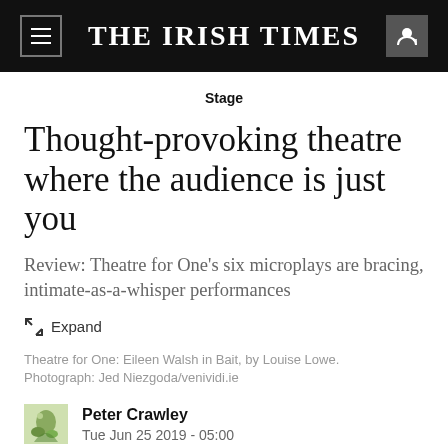THE IRISH TIMES
Stage
Thought-provoking theatre where the audience is just you
Review: Theatre for One's six microplays are bracing, intimate-as-a-whisper performances
Expand
Theatre for One: Eileen Walsh in Bait, by Louise Lowe. Photograph: Jed Niezgoda/venividi.ie
Peter Crawley
Tue Jun 25 2019 - 05:00